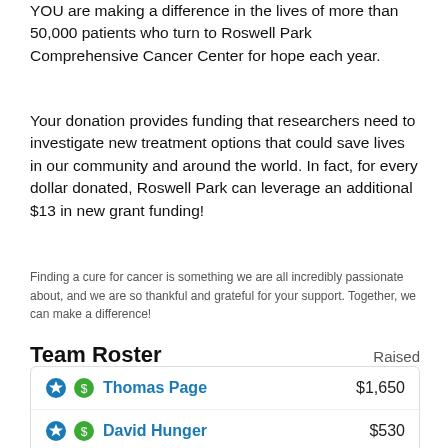YOU are making a difference in the lives of more than 50,000 patients who turn to Roswell Park Comprehensive Cancer Center for hope each year.
Your donation provides funding that researchers need to investigate new treatment options that could save lives in our community and around the world. In fact, for every dollar donated, Roswell Park can leverage an additional $13 in new grant funding!
Finding a cure for cancer is something we are all incredibly passionate about, and we are so thankful and grateful for your support. Together, we can make a difference!
Team Roster
| Name | Raised |
| --- | --- |
| Thomas Page | $1,650 |
| David Hunger | $530 |
| Lynnette Bizub | $250 |